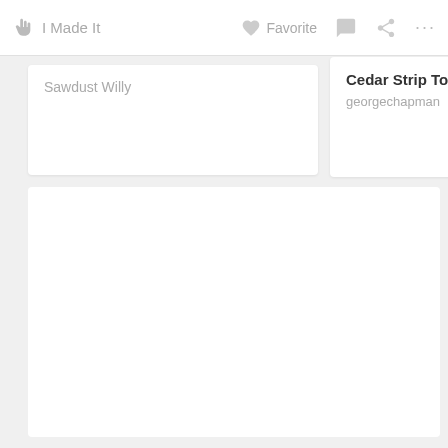I Made It   Favorite   ...
Sawdust Willy
Cedar Strip Top by
georgechapman